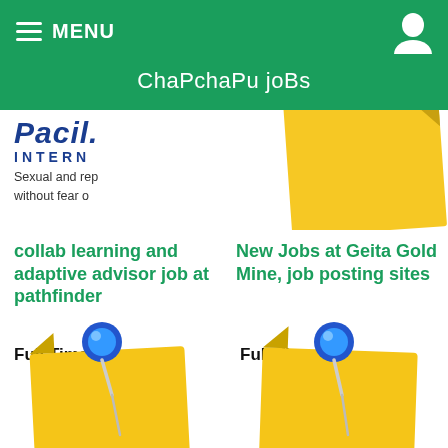MENU  ChaPchaPu joBs
[Figure (screenshot): Partially visible card with blue bold italic heading, INTERN subtitle in spaced caps, and text 'Sexual and rep... without fear o...']
[Figure (illustration): Yellow sticky note (top right, partially visible, no pin)]
collab learning and adaptive advisor job at pathfinder
Full Time
New Jobs at Geita Gold Mine, job posting sites
Full Time
[Figure (illustration): Blue pushpin pinned through a yellow sticky note, bottom left]
[Figure (illustration): Blue pushpin pinned through a yellow sticky note, bottom right]